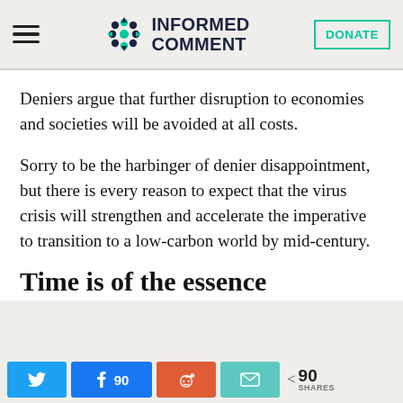INFORMED COMMENT
Deniers argue that further disruption to economies and societies will be avoided at all costs.
Sorry to be the harbinger of denier disappointment, but there is every reason to expect that the virus crisis will strengthen and accelerate the imperative to transition to a low-carbon world by mid-century.
Time is of the essence
90 SHARES